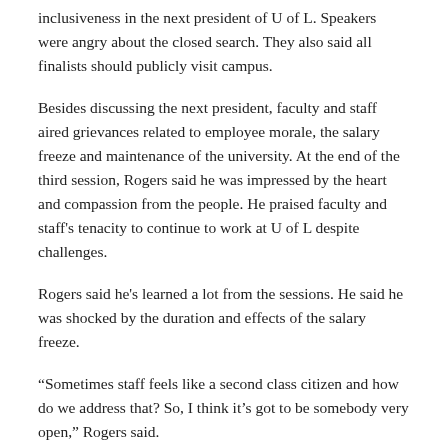inclusiveness in the next president of U of L. Speakers were angry about the closed search. They also said all finalists should publicly visit campus.
Besides discussing the next president, faculty and staff aired grievances related to employee morale, the salary freeze and maintenance of the university. At the end of the third session, Rogers said he was impressed by the heart and compassion from the people. He praised faculty and staff's tenacity to continue to work at U of L despite challenges.
Rogers said he's learned a lot from the sessions. He said he was shocked by the duration and effects of the salary freeze.
“Sometimes staff feels like a second class citizen and how do we address that? So, I think it’s got to be somebody very open,” Rogers said.